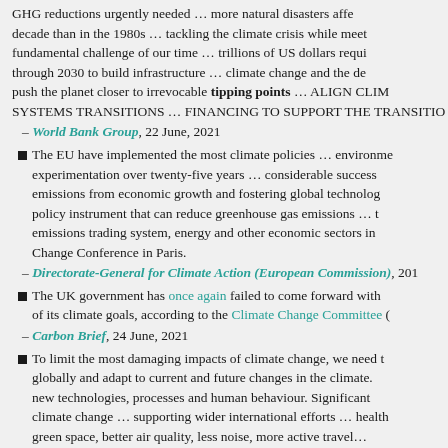GHG reductions urgently needed … more natural disasters affe decade than in the 1980s … tackling the climate crisis while meet fundamental challenge of our time … trillions of US dollars requi through 2030 to build infrastructure … climate change and the de push the planet closer to irrevocable tipping points … ALIGN CLI SYSTEMS TRANSITIONS … FINANCING TO SUPPORT THE TRANSITIO
– World Bank Group, 22 June, 2021
The EU have implemented the most climate policies … environme experimentation over twenty-five years … considerable success emissions from economic growth and fostering global technolog policy instrument that can reduce greenhouse gas emissions … emissions trading system, energy and other economic sectors i Change Conference in Paris.
– Directorate-General for Climate Action (European Commission), 201
The UK government has once again failed to come forward with of its climate goals, according to the Climate Change Committee (
– Carbon Brief, 24 June, 2021
To limit the most damaging impacts of climate change, we need t globally and adapt to current and future changes in the climate. new technologies, processes and human behaviour. Significant climate change … supporting wider international efforts … health green space, better air quality, less noise, more active travel…